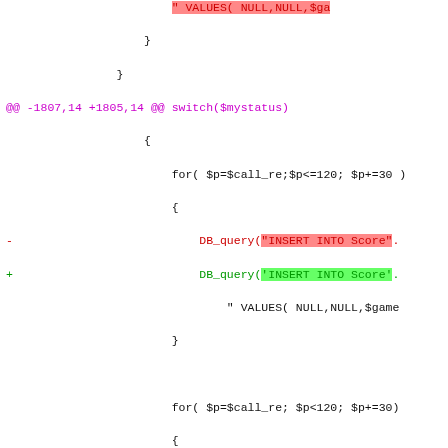[Figure (screenshot): A unified diff / code review screenshot showing PHP code changes. Multiple hunk headers (@@ lines) in magenta, removed lines in red with red-highlighted string literals, added lines in green with green-highlighted string literals, and unchanged context lines in black monospace font.]